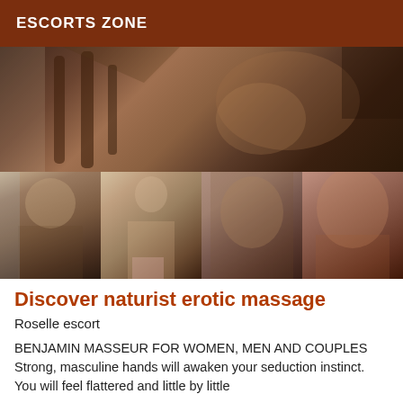ESCORTS ZONE
[Figure (photo): Collage of five photos showing a muscular person on wooden furniture (top), and four smaller images below: a bald muscular man, a slim person, a woman in ornate setting, and a muscular torso.]
Discover naturist erotic massage
Roselle escort
BENJAMIN MASSEUR FOR WOMEN, MEN AND COUPLES Strong, masculine hands will awaken your seduction instinct. You will feel flattered and little by little